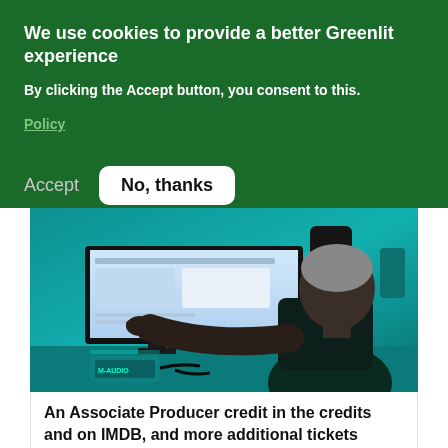We use cookies to provide a better Greenlit experience
By clicking the Accept button, you consent to this.
Policy
Accept   No, thanks
[Figure (photo): Person sitting at a studio workstation, pointing at a large monitor displaying audio/video editing software, with studio monitors in the background. Lit with teal/cyan ambient lighting.]
An Associate Producer credit in the credits and on IMDB, and more additional tickets